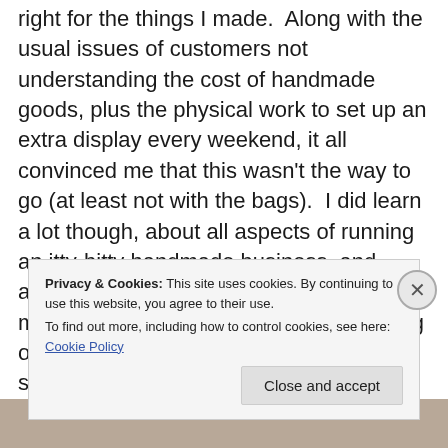right for the things I made.  Along with the usual issues of customers not understanding the cost of handmade goods, plus the physical work to set up an extra display every weekend, it all convinced me that this wasn't the way to go (at least not with the bags).  I did learn a lot though, about all aspects of running an itty-bitty handmade business, and about myself.  I began to figure out that my passion is really more for empowering other people to become makers than for selling things I make, hence my latest
Privacy & Cookies: This site uses cookies. By continuing to use this website, you agree to their use. To find out more, including how to control cookies, see here: Cookie Policy